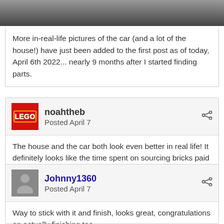[Figure (photo): Partial photo of a car/house LEGO model, cropped at top]
More in-real-life pictures of the car (and a lot of the house!) have just been added to the first post as of today, April 6th 2022... nearly 9 months after I started finding parts.
noahtheb
Posted April 7
The house and the car both look even better in real life! It definitely looks like the time spent on sourcing bricks paid off.
Johnny1360
Posted April 7
Way to stick with it and finish, looks great, congratulations on actually finishing too.

One thing I would probably change though, the 1x tiles on the outside walls, used to represent siding. I would discontinue